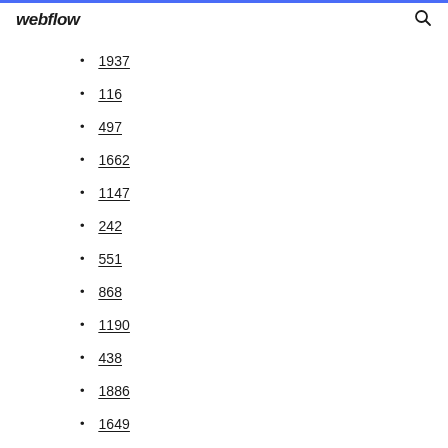webflow
1937
116
497
1662
1147
242
551
868
1190
438
1886
1649